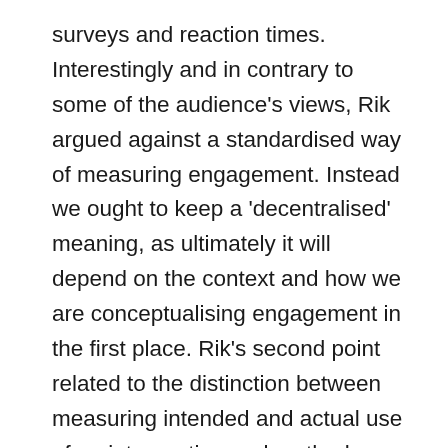surveys and reaction times. Interestingly and in contrary to some of the audience's views, Rik argued against a standardised way of measuring engagement. Instead we ought to keep a 'decentralised' meaning, as ultimately it will depend on the context and how we are conceptualising engagement in the first place. Rik's second point related to the distinction between measuring intended and actual use of an intervention and methods employed to understand usage behaviours. For example, 'Think aloud' procedures can help to uncover if certain user groups go to different places on a website and whether any content is misinterpreted, allowing an organisation to continually refine their intervention. Rik's final point addressed the novel ways to reduce participant burden and increase engagement. For example, avatars can be used as a proxy for psychological constructs and skin logic in